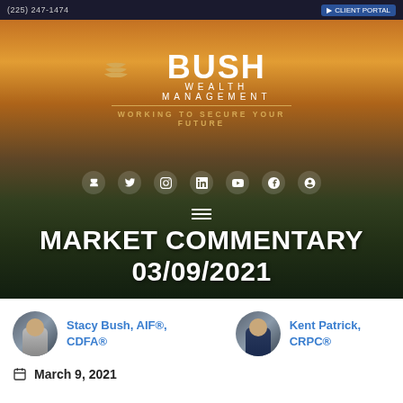(225) 247-1474  CLIENT PORTAL
[Figure (photo): Aerial cityscape photo with warm sunset sky, overlaid with Bush Wealth Management logo, social media icons, hamburger menu, and Market Commentary 03/09/2021 title text]
Stacy Bush, AIF®, CDFA®
Kent Patrick, CRPC®
March 9, 2021